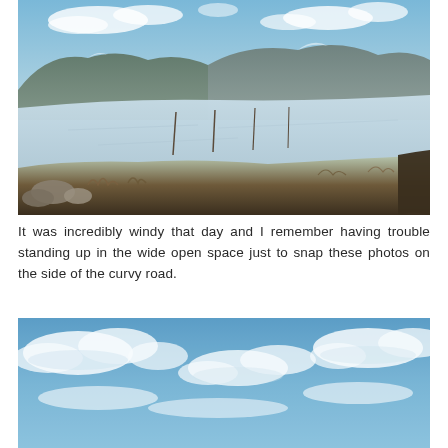[Figure (photo): Winter landscape photo showing a frozen or snow-covered lake or reservoir with mountains in the background, fence posts in the foreground, blue sky with clouds, and scrubby vegetation in the lower foreground.]
It was incredibly windy that day and I remember having trouble standing up in the wide open space just to snap these photos on the side of the curvy road.
[Figure (photo): Photo of a blue sky with scattered white clouds, slightly blurred or out of focus.]